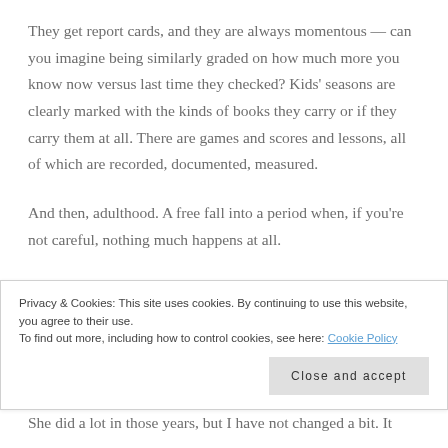They get report cards, and they are always momentous — can you imagine being similarly graded on how much more you know now versus last time they checked? Kids' seasons are clearly marked with the kinds of books they carry or if they carry them at all. There are games and scores and lessons, all of which are recorded, documented, measured.
And then, adulthood. A free fall into a period when, if you're not careful, nothing much happens at all.
All this struck me from my vantage point in the balcony of
Privacy & Cookies: This site uses cookies. By continuing to use this website, you agree to their use. To find out more, including how to control cookies, see here: Cookie Policy
Close and accept
She did a lot in those years, but I have not changed a bit. It